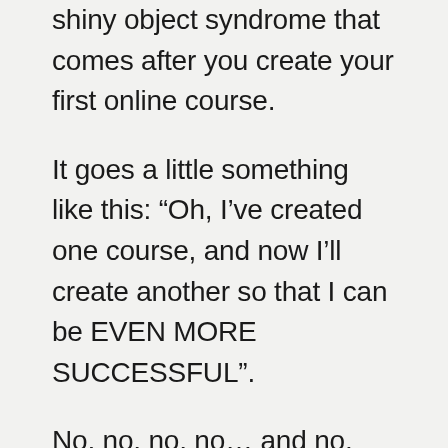shiny object syndrome that comes after you create your first online course.
It goes a little something like this: “Oh, I’ve created one course, and now I’ll create another so that I can be EVEN MORE SUCCESSFUL”.
No, no, no, no… and no.
More courses will dilute your focus, optimisation efforts, ability to scale and will confuse your audience